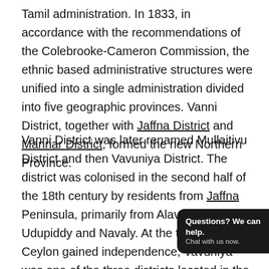Tamil administration. In 1833, in accordance with the recommendations of the Colebrooke-Cameron Commission, the ethnic based administrative structures were unified into a single administration divided into five geographic provinces. Vanni District, together with Jaffna District and Mannar District, formed the new Northern Province.
Vanni District was later renamed Mullaitivu District and then Vavuniya District. The district was colonised in the second half of the 18th century by residents from Jaffna Peninsula, primarily from Alaveddy, Udupiddy and Navaly. At the time that Ceylon gained independence, Vavuniya was one of the three districts located in the Northern Province. Mullaitivu District was carved out of the northern part of Vavuniya District together [obscured] District, Mannar D[obscured]istrict in September 1978.